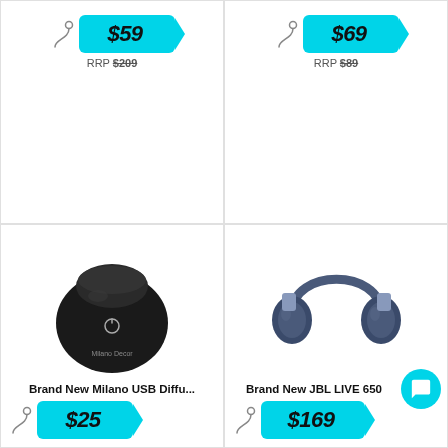[Figure (infographic): Price tag showing $59 with hook graphic on cyan tag]
RRP $209
[Figure (infographic): Price tag showing $69 with hook graphic on cyan tag]
RRP $89
[Figure (photo): Black round Milano Decor USB diffuser]
Brand New Milano USB Diffu...
[Figure (infographic): Price tag showing $25 on cyan tag]
[Figure (photo): Navy blue JBL LIVE 650 over-ear headphones]
Brand New JBL LIVE 650...
[Figure (infographic): Price tag showing $169 on cyan tag]